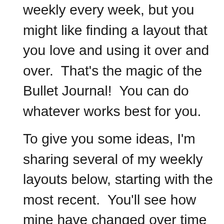creative. I personally like changing my weekly every week, but you might like finding a layout that you love and using it over and over. That's the magic of the Bullet Journal! You can do whatever works best for you.
To give you some ideas, I'm sharing several of my weekly layouts below, starting with the most recent. You'll see how mine have changed over time as I experiment with adding new things and taking away anything that didn't work.